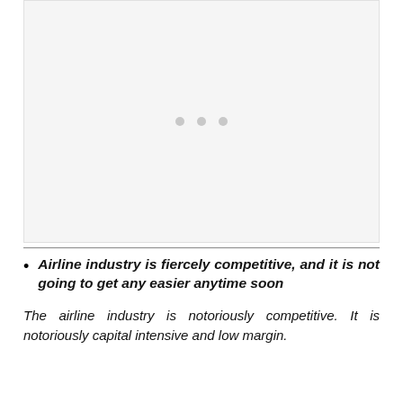[Figure (other): Light gray placeholder image area with three small gray dots in the center, indicating a loading or blank image state]
Airline industry is fiercely competitive, and it is not going to get any easier anytime soon
The airline industry is notoriously competitive. It is notoriously capital intensive and low margin.